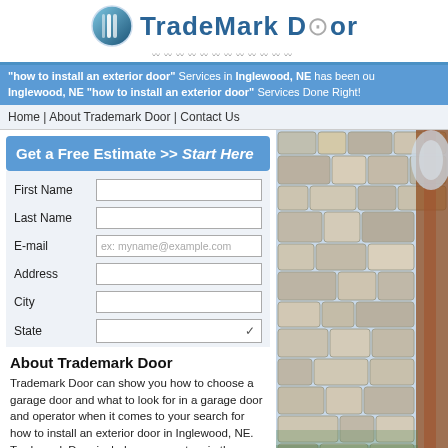[Figure (logo): TradeMark Door logo with blue shield icon and stylized text]
"how to install an exterior door" Services in Inglewood, NE has been our passion. Inglewood, NE "how to install an exterior door" Services Done Right!
Home | About Trademark Door | Contact Us
Get a Free Estimate >> Start Here
| Field | Input |
| --- | --- |
| First Name |  |
| Last Name |  |
| E-mail | ex: myname@example.com |
| Address |  |
| City |  |
| State |  |
About Trademark Door
Trademark Door can show you how to choose a garage door and what to look for in a garage door and operator when it comes to your search for how to install an exterior door in Inglewood, NE. Trademark Door includes many extras in the standard garage door when it comes to your how
[Figure (photo): Stone wall and wooden door frame architectural photo]